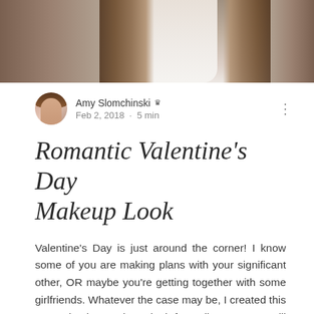[Figure (photo): Top portion of a photo showing a woman with long brown hair and a white top, cropped to show mostly hair and the top of her shoulders/chest area]
Amy Slomchinski 👑
Feb 2, 2018 · 5 min
Romantic Valentine's Day Makeup Look
Valentine's Day is just around the corner! I know some of you are making plans with your significant other, OR maybe you're getting together with some girlfriends. Whatever the case may be, I created this romantic glam makeup look for y'all to try out! I will be listing all of the product details throughout this post, and you can find a short video tutorial at the end. (*Please note that some product links will